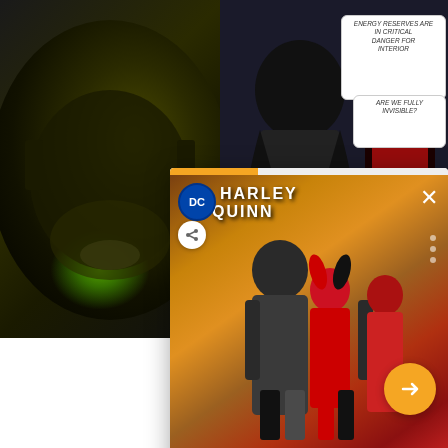[Figure (photo): Background collage of comic book images: left side shows a dark helmeted figure with green glow, right side shows superhero figures and comic panels with speech bubbles]
[Figure (screenshot): Floating card overlay showing Harley Quinn #21 comic book cover art with share button, close (X) button, navigation dots, orange arrow button, and title bar]
Harley Quinn #21 review